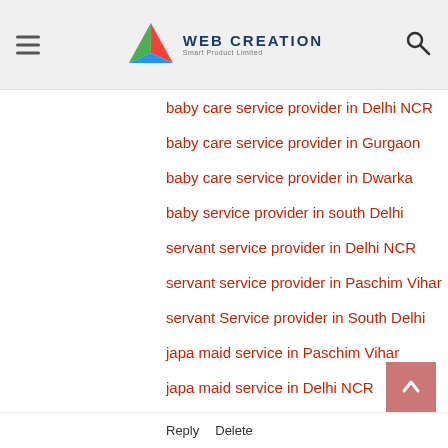Web Creation — navigation header with hamburger menu, logo, and search icon
baby care service provider in Delhi NCR
baby care service provider in Gurgaon
baby care service provider in Dwarka
baby service provider in south Delhi
servant service provider in Delhi NCR
servant service provider in Paschim Vihar
servant Service provider in South Delhi
japa maid service in Paschim Vihar
japa maid service in Delhi NCR
japa maid service in Dwarka
japa maid service in south Delhi
patient care service in Paschim Vihar
patient care service in Delhi NCR
patient care service in Dwarka
Patient care service in south Delhi
Reply   Delete